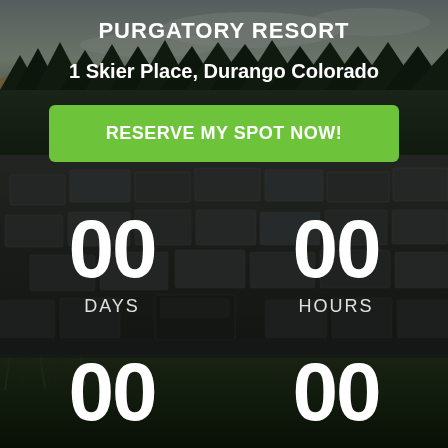[Figure (photo): Aerial photograph of a large RV/van parking lot filled with many vans and RVs, surrounded by trees and green landscape. Background shows forested mountains and overcast sky.]
PURGATORY RESORT
1 Skier Place, Durango Colorado
RESERVE MY SPOT NOW!
00 DAYS
00 HOURS
00
00